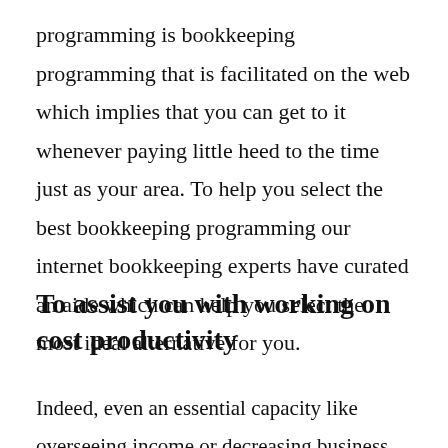programming is bookkeeping programming that is facilitated on the web which implies that you can get to it whenever paying little heed to the time just as your area. To help you select the best bookkeeping programming our internet bookkeeping experts have curated an aide which can help you select the most ideal alternative for you.
To assist you with working on cost productivity
Indeed, even an essential capacity like overseeing income or decreasing business